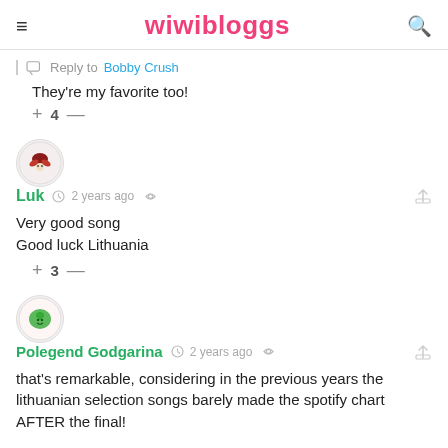wiwibloggs
Reply to Bobby Crush
They're my favorite too!
+ 4 —
Luk  2 years ago
Very good song
Good luck Lithuania
+ 3 —
Polegend Godgarina  2 years ago
that's remarkable, considering in the previous years the lithuanian selection songs barely made the spotify chart AFTER the final!